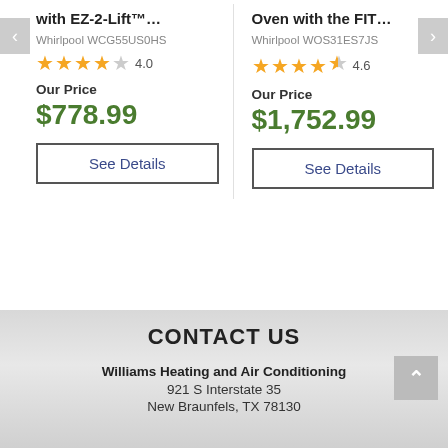with EZ-2-Lift™…
Oven with the FIT…
Whirlpool WCG55US0HS
Whirlpool WOS31ES7JS
4.0
4.6
Our Price
$778.99
Our Price
$1,752.99
See Details
See Details
CONTACT US
Williams Heating and Air Conditioning
921 S Interstate 35
New Braunfels, TX 78130